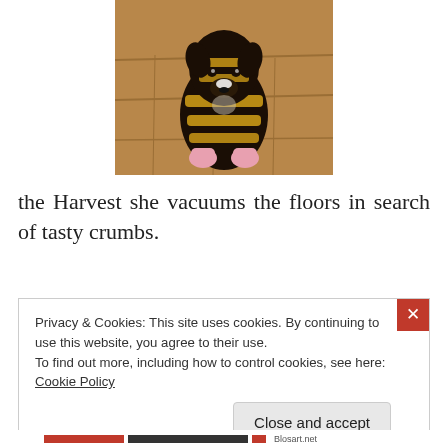[Figure (photo): A small black dog wearing a yellow and black striped bee costume with pink booties on its paws, sitting on a wooden floor looking up at the camera.]
the Harvest she vacuums the floors in search of tasty crumbs.
Privacy & Cookies: This site uses cookies. By continuing to use this website, you agree to their use.
To find out more, including how to control cookies, see here: Cookie Policy

Close and accept